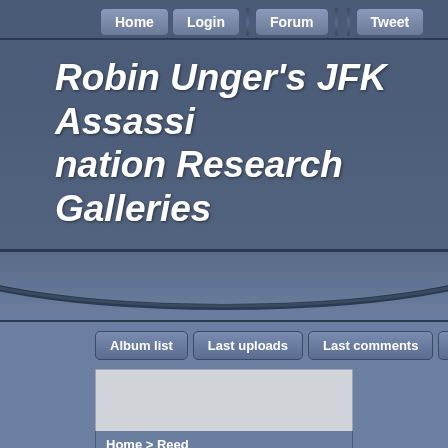Home | Login | Forum | Tweet
Robin Unger's JFK Assassination Research Galleries
[Figure (illustration): Decorative arc/curve design element in the page header area]
Album list | Last uploads | Last comments | Most viewed | Top rate
Home > Reed
Reed
[Figure (photo): Thumbnail images row at the bottom of the page]